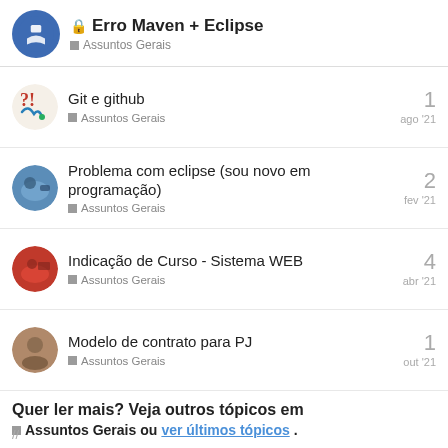🔒 Erro Maven + Eclipse — Assuntos Gerais
Git e github — Assuntos Gerais — 1 — ago '21
Problema com eclipse (sou novo em programação) — Assuntos Gerais — 2 — fev '21
Indicação de Curso - Sistema WEB — Assuntos Gerais — 4 — abr '21
Modelo de contrato para PJ — Assuntos Gerais — 1 — out '21
Quer ler mais? Veja outros tópicos em Assuntos Gerais ou ver últimos tópicos.
//